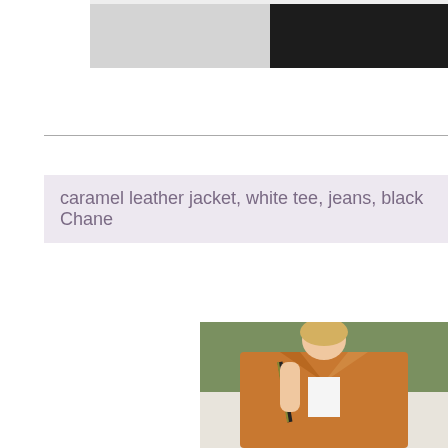[Figure (photo): Top cropped photo showing a person in black clothing, partially visible at the top of the page]
caramel leather jacket, white tee, jeans, black Chane
[Figure (photo): Woman wearing a caramel/tan leather jacket with wide lapels, carrying a black quilted chain bag, with blonde hair, photographed outdoors]